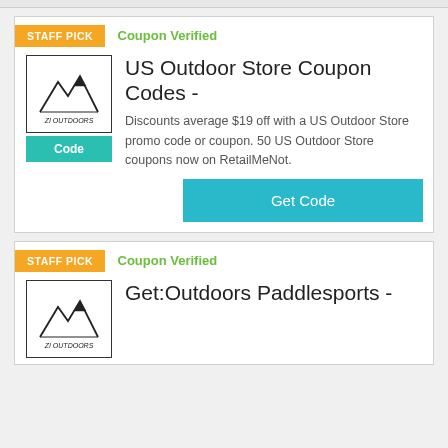[Figure (screenshot): Top gray bar stripe at the top of the page]
STAFF PICK
Coupon Verified
[Figure (logo): 21 Outdoors logo with mountain graphic]
Code
US Outdoor Store Coupon Codes -
Discounts average $19 off with a US Outdoor Store promo code or coupon. 50 US Outdoor Store coupons now on RetailMeNot.
Get Code
STAFF PICK
Coupon Verified
[Figure (logo): 21 Outdoors logo with mountain graphic]
Get:Outdoors Paddlesports -